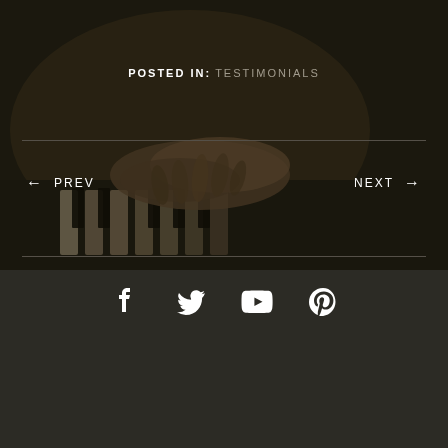[Figure (photo): Dark moody photograph of hands playing piano keys, low-key lighting with dark brown/sepia tones]
POSTED IN: TESTIMONIALS
← PREV
NEXT →
[Figure (infographic): Four social media icons in white: Facebook, Twitter, YouTube, Pinterest]